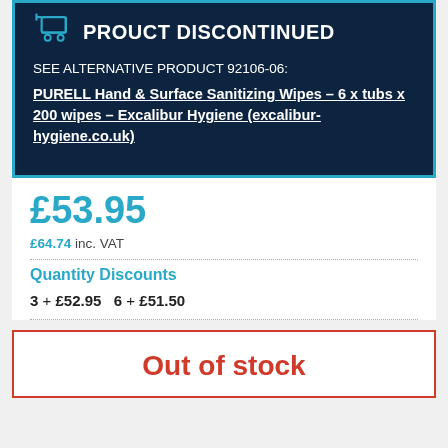PROUCT DISCONTINUED
SEE ALTERNATIVE PRODUCT 92106-06:
PURELL Hand & Surface Sanitizing Wipes – 6 x tubs x 200 wipes – Excalibur Hygiene (excalibur-hygiene.co.uk)
£53.95
£64.74 inc. VAT
Quantity Discounts
3 + £52.95   6 + £51.50
Out of stock